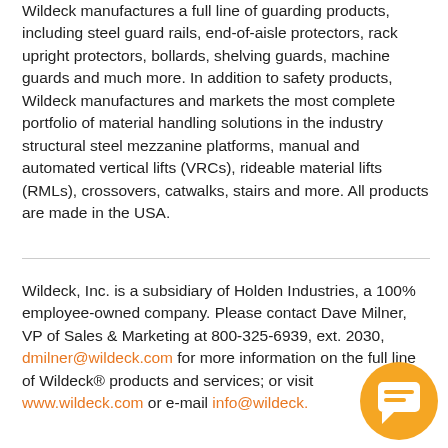Wildeck manufactures a full line of guarding products, including steel guard rails, end-of-aisle protectors, rack upright protectors, bollards, shelving guards, machine guards and much more. In addition to safety products, Wildeck manufactures and markets the most complete portfolio of material handling solutions in the industry structural steel mezzanine platforms, manual and automated vertical lifts (VRCs), rideable material lifts (RMLs), crossovers, catwalks, stairs and more. All products are made in the USA.
Wildeck, Inc. is a subsidiary of Holden Industries, a 100% employee-owned company. Please contact Dave Milner, VP of Sales & Marketing at 800-325-6939, ext. 2030, dmilner@wildeck.com for more information on the full line of Wildeck® products and services; or visit www.wildeck.com or e-mail info@wildeck.
[Figure (illustration): Orange circular chat bubble icon with white speech bubble graphic in the bottom-right corner]